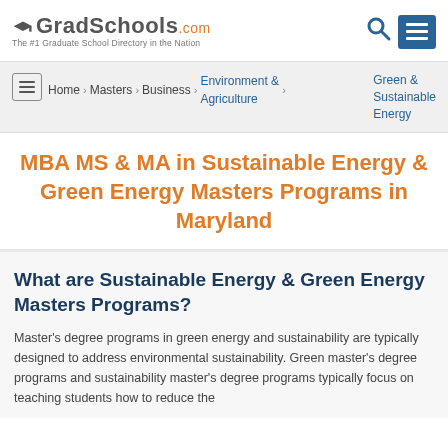GradSchools.com — The #1 Graduate School Directory in the Nation
Home > Masters > Business > Environment & Agriculture > Green & Sustainable Energy
MBA MS & MA in Sustainable Energy & Green Energy Masters Programs in Maryland
What are Sustainable Energy & Green Energy Masters Programs?
Master's degree programs in green energy and sustainability are typically designed to address environmental sustainability. Green master's degree programs and sustainability master's degree programs typically focus on teaching students how to reduce the